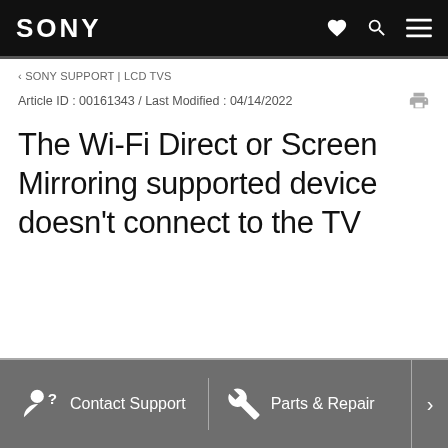SONY
‹ SONY SUPPORT | LCD TVS
Article ID : 00161343 / Last Modified : 04/14/2022
The Wi-Fi Direct or Screen Mirroring supported device doesn't connect to the TV
Contact Support   Parts & Repair